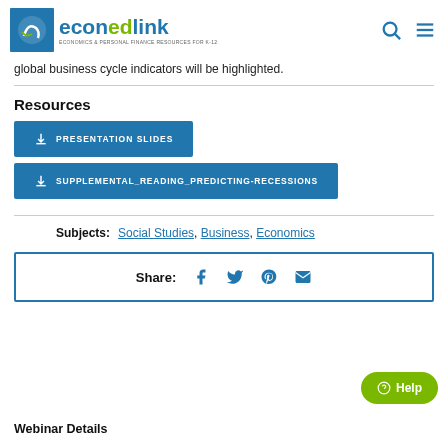econedlink
global business cycle indicators will be highlighted.
Resources
PRESENTATION SLIDES
SUPPLEMENTAL_READING_PREDICTING-RECESSIONS
Subjects: Social Studies, Business, Economics
Share:
Webinar Details